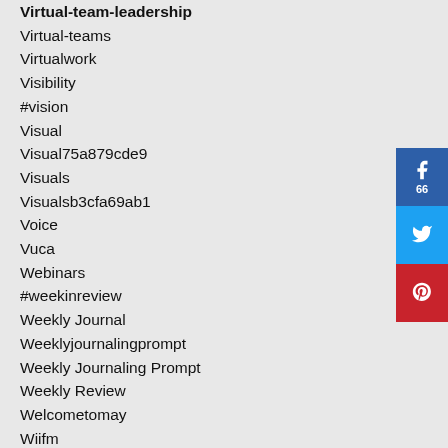Virtual-team-leadership (partial, bold, cut off at top)
Virtual-teams
Virtualwork
Visibility
#vision
Visual
Visual75a879cde9
Visuals
Visualsb3cfa69ab1
Voice
Vuca
Webinars
#weekinreview
Weekly Journal
Weeklyjournalingprompt
Weekly Journaling Prompt
Weekly Review
Welcometomay
Wiifm
Wish